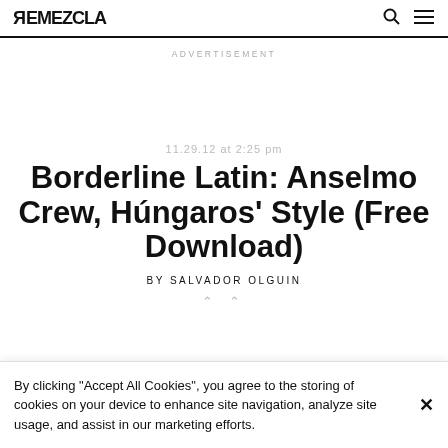REMEZCLA
ADVERTISEMENT
11.29.12 at 2:25 pm
Borderline Latin: Anselmo Crew, Húngaros' Style (Free Download)
BY SALVADOR OLGUIN
By clicking “Accept All Cookies”, you agree to the storing of cookies on your device to enhance site navigation, analyze site usage, and assist in our marketing efforts.